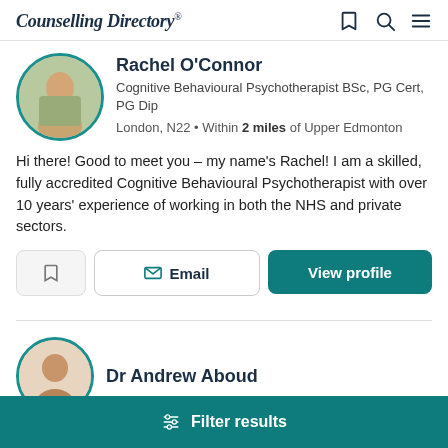Counselling Directory
Rachel O'Connor
Cognitive Behavioural Psychotherapist BSc, PG Cert, PG Dip
London, N22 • Within 2 miles of Upper Edmonton
Hi there! Good to meet you – my name's Rachel! I am a skilled, fully accredited Cognitive Behavioural Psychotherapist with over 10 years' experience of working in both the NHS and private sectors.
Dr Andrew Aboud
Filter results